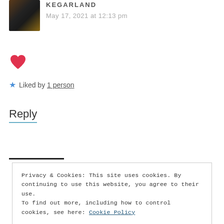[Figure (photo): Avatar photo of KEGARLAND, a smiling person in a black jacket]
KEGARLAND
May 17, 2021 at 12:13 pm
[Figure (illustration): Red heart emoji/icon]
★ Liked by 1 person
Reply
Privacy & Cookies: This site uses cookies. By continuing to use this website, you agree to their use.
To find out more, including how to control cookies, see here: Cookie Policy
Close and accept